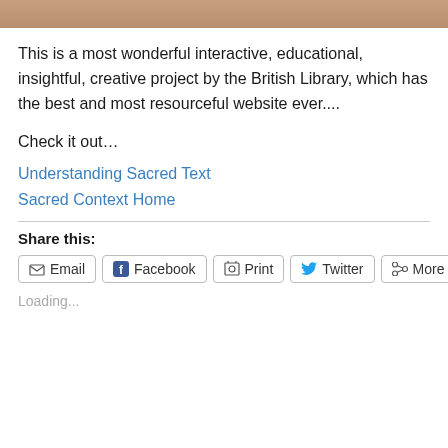[Figure (photo): Partial image strip at the top of the page, showing a cropped portion of a warm-toned photo]
This is a most wonderful interactive, educational, insightful, creative project by the British Library, which has the best and most resourceful website ever....
Check it out…
Understanding Sacred Text
Sacred Context Home
Share this:
Email  Facebook  Print  Twitter  More
Loading...